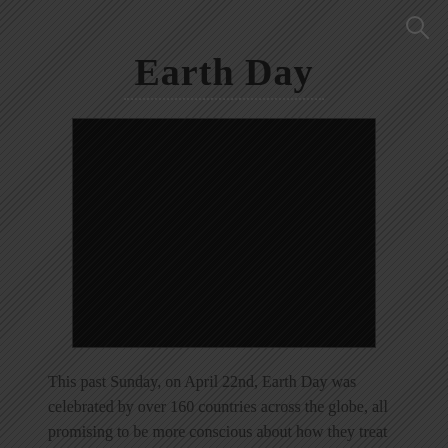🔍
Earth Day
[Figure (photo): Dark photograph, mostly black/very dark, appears to show an outdoor or nature scene, nearly indistinguishable due to darkness.]
This past Sunday, on April 22nd, Earth Day was celebrated by over 160 countries across the globe, all promising to be more conscious about how they treat our planet. Santa Clara County residents had a [continues below]